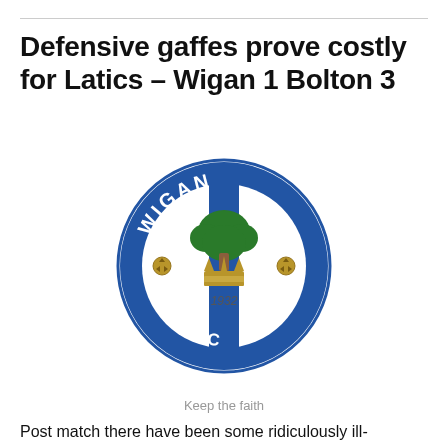Defensive gaffes prove costly for Latics – Wigan 1 Bolton 3
[Figure (logo): Wigan Athletic football club crest/logo showing the name WIGAN ATHLETIC in blue circle border, a green tree, golden crown, and year 1932]
Keep the faith
Post match there have been some ridiculously ill-considered comments from Wigan fans about Roberto